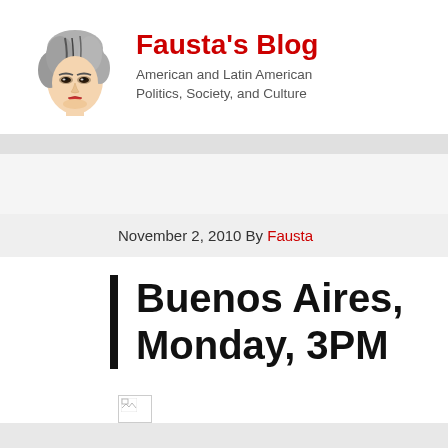[Figure (illustration): Illustrated portrait of a woman with short gray hair and dramatic makeup, serving as the blog logo for Fausta's Blog]
Fausta's Blog
American and Latin American Politics, Society, and Culture
November 2, 2010 By Fausta
Buenos Aires, Monday, 3PM
[Figure (illustration): Broken/missing image placeholder icon]